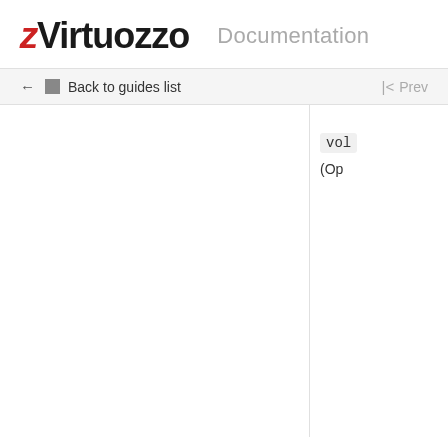Virtuozzo Documentation
← Back to guides list
|< Prev
vol
(Op